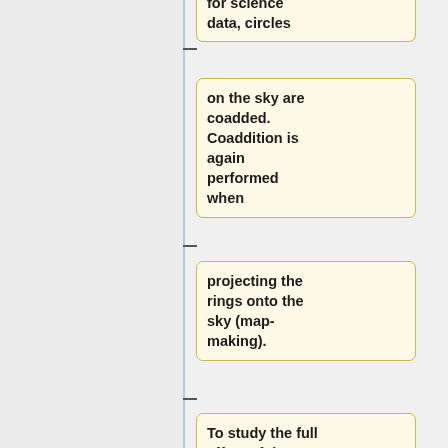[Figure (flowchart): Flowchart showing data processing pipeline steps: 'for science data, circles' (partial top box), 'on the sky are coadded. Coaddition is again performed when', 'projecting the rings onto the sky (map-making).', 'To study the full effect of the PLANCK-HFI data compression', 'algorithm onto our main science [data/results]' (partial bottom box). Each box is connected by a vertical blue line with horizontal dash connectors.]